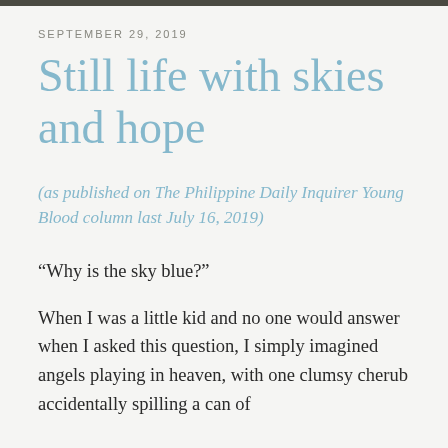SEPTEMBER 29, 2019
Still life with skies and hope
(as published on The Philippine Daily Inquirer Young Blood column last July 16, 2019)
“Why is the sky blue?”
When I was a little kid and no one would answer when I asked this question, I simply imagined angels playing in heaven, with one clumsy cherub accidentally spilling a can of